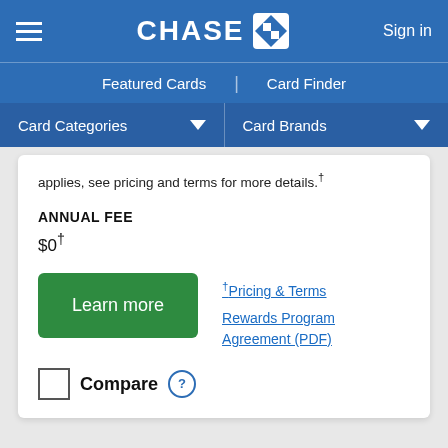CHASE | Sign in
Featured Cards | Card Finder
Card Categories | Card Brands
applies, see pricing and terms for more details.†
ANNUAL FEE
$0†
Learn more
†Pricing & Terms
Rewards Program Agreement (PDF)
Compare ?